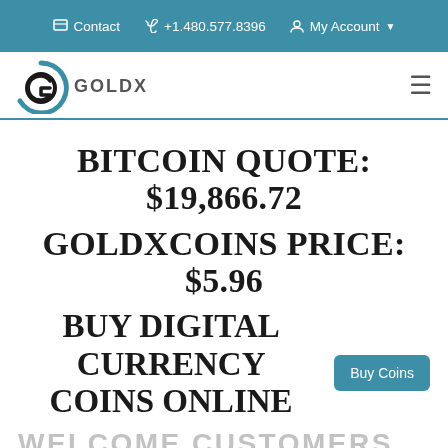Contact  +1.480.577.8396  My Account
[Figure (logo): GoldX logo — circular G icon in blue and black with 'GOLDX' text]
BITCOIN QUOTE: $19,866.72
GOLDXCOINS PRICE: $5.96
BUY DIGITAL CURRENCY COINS ONLINE
WELCOME CUSTOMERS
Thank you for visiting the official sales and trading